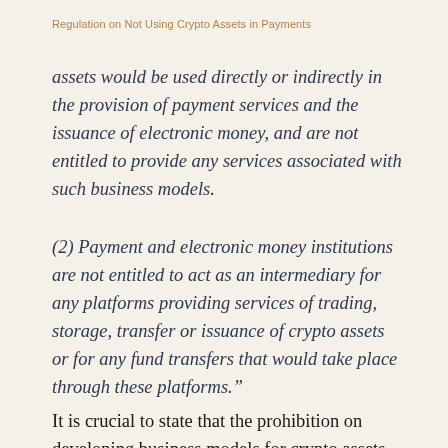Regulation on Not Using Crypto Assets in Payments
assets would be used directly or indirectly in the provision of payment services and the issuance of electronic money, and are not entitled to provide any services associated with such business models.
(2) Payment and electronic money institutions are not entitled to act as an intermediary for any platforms providing services of trading, storage, transfer or issuance of crypto assets or for any fund transfers that would take place through these platforms.”
It is crucial to state that the prohibition on developing business models for crypto assets